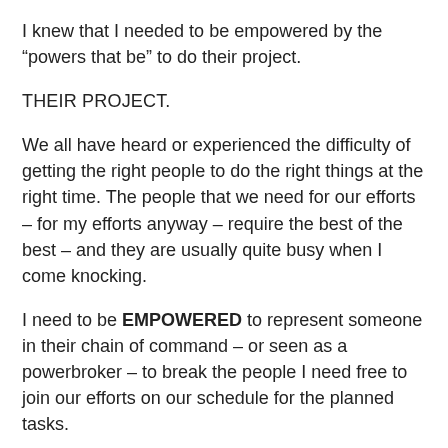I knew that I needed to be empowered by the “powers that be” to do their project.
THEIR PROJECT.
We all have heard or experienced the difficulty of getting the right people to do the right things at the right time. The people that we need for our efforts – for my efforts anyway – require the best of the best – and they are usually quite busy when I come knocking.
I need to be EMPOWERED to represent someone in their chain of command – or seen as a powerbroker – to break the people I need free to join our efforts on our schedule for the planned tasks.
Which necessitates having a detailed (and feasible) plan and schedule – which is a whole other issue.